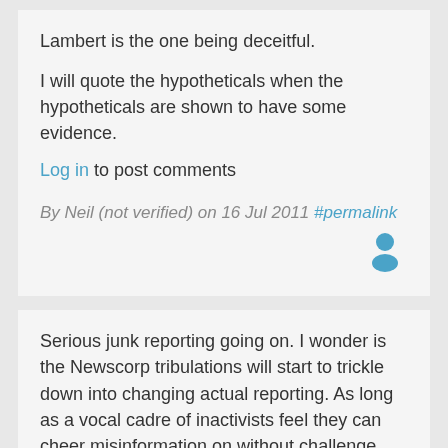Lambert is the one being deceitful.
I will quote the hypotheticals when the hypotheticals are shown to have some evidence.
Log in to post comments
By Neil (not verified) on 16 Jul 2011 #permalink
Serious junk reporting going on. I wonder is the Newscorp tribulations will start to trickle down into changing actual reporting. As long as a vocal cadre of inactivists feel they can cheer misinformation on without challenge, and with the support of a political party, it may go for a while.
Neil - what do you think that 'no increased heavy precipitation events over most of Australia' might mean? That the Queensland floods may not reflect flooding in Adelaide? How are water levels